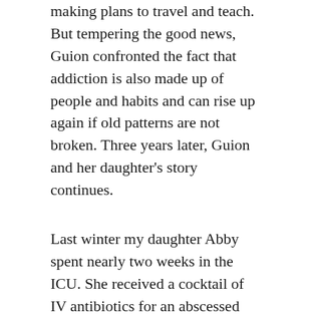making plans to travel and teach. But tempering the good news, Guion confronted the fact that addiction is also made up of people and habits and can rise up again if old patterns are not broken. Three years later, Guion and her daughter's story continues.
Last winter my daughter Abby spent nearly two weeks in the ICU. She received a cocktail of IV antibiotics for an abscessed spleen. A spleen infarcted by IV heroin use. The flow of blood occluded—bacteria or fungi had burrowed deep into the rich agar, germinated and swelled to unwholesome proportions leaving her febrile and disoriented.
I wish I could say that our lives, after Abby's first ibogaine treatment, were a succession of triumphs and joys but we have taken the more common